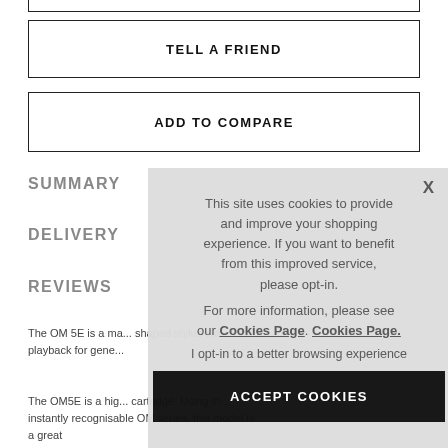TELL A FRIEND
ADD TO COMPARE
SUMMARY
DELIVERY
REVIEWS
The OM 5E is a ma... shaped stylus tha... playback for gene...
The OM5E is a hig... cartridge. Using th... instantly recognisable OM series, this model is a great
This site uses cookies to provide and improve your shopping experience. If you want to benefit from this improved service, please opt-in.
For more information, please see our Cookies Page. Cookies Page.
I opt-in to a better browsing experience
ACCEPT COOKIES